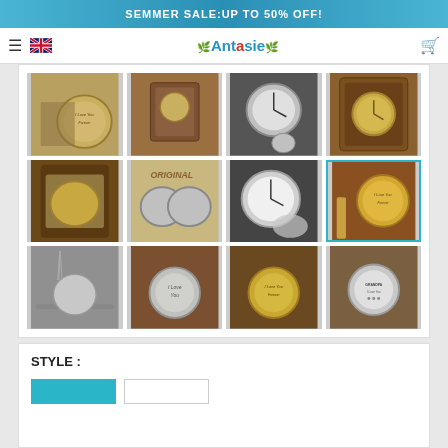SEMMER SALE:UP TO 50% OFF!
[Figure (screenshot): E-commerce product page for Antasie brand showing a grid of pocket watch product images with a summer sale banner, navigation bar with UK flag and cart icon, product image gallery with 12 watch photos (one selected with teal border), and a STYLE section below with selection buttons.]
STYLE :